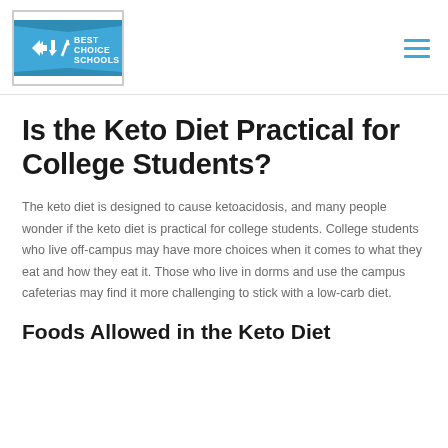[Figure (logo): Best Choice Schools logo — blue banner with white arrows and text reading BEST CHOICE SCHOOLS]
Is the Keto Diet Practical for College Students?
The keto diet is designed to cause ketoacidosis, and many people wonder if the keto diet is practical for college students. College students who live off-campus may have more choices when it comes to what they eat and how they eat it. Those who live in dorms and use the campus cafeterias may find it more challenging to stick with a low-carb diet.
Foods Allowed in the Keto Diet